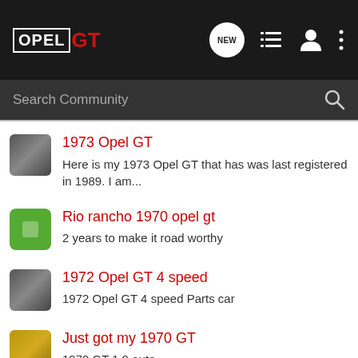OPEL GT
Search Community
1973 Opel GT
Here is my 1973 Opel GT that has was last registered in 1989. I am...
Rio rancho 1970 opel gt
2 years to make it road worthy
1972 Opel GT 4 speed
1972 Opel GT 4 speed Parts car
Just got my 1970 GT
1970 GT 1.9 auto